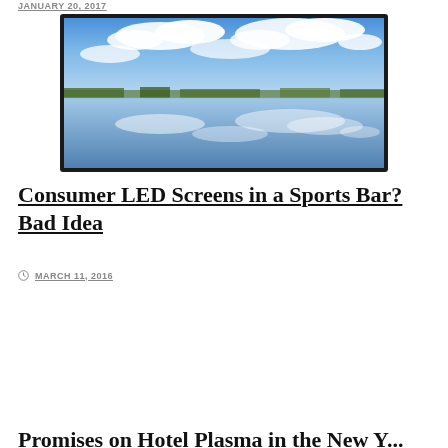JANUARY 20, 2017
[Figure (photo): Landscape photograph of a calm lake reflecting blue sky with white clouds and a distant treeline/cityscape on the horizon, displayed on a dark-framed screen]
Consumer LED Screens in a Sports Bar? Bad Idea
MARCH 11, 2016
Promises on Hotel Plasma in the New Y...